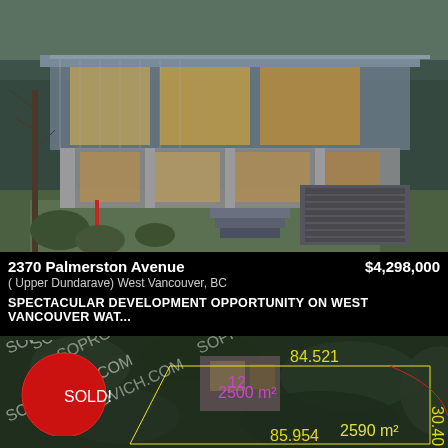[Figure (photo): Exterior photo of a modern luxury home in West Vancouver with large glass windows, wood accents, and landscaped garden]
2370 Palmerston Avenue    $4,298,000
( Upper Dundarave) West Vancouver, BC
SPECTACULAR DEVELOPMENT OPPORTUNITY ON WEST VANCOUVER WAT...
[Figure (photo): Aerial/satellite view of a waterfront property with SOLD! badge overlay and SOPROVICH.COM watermarks, yellow boundary lines marking the lot]